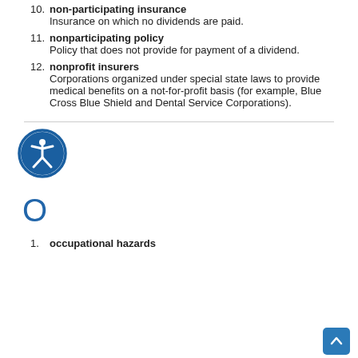10. non-participating insurance
Insurance on which no dividends are paid.
11. nonparticipating policy
Policy that does not provide for payment of a dividend.
12. nonprofit insurers
Corporations organized under special state laws to provide medical benefits on a not-for-profit basis (for example, Blue Cross Blue Shield and Dental Service Corporations).
[Figure (illustration): Accessibility icon: a circular blue icon with a white stick figure with arms outstretched, indicating accessibility features.]
O
1. occupational hazards